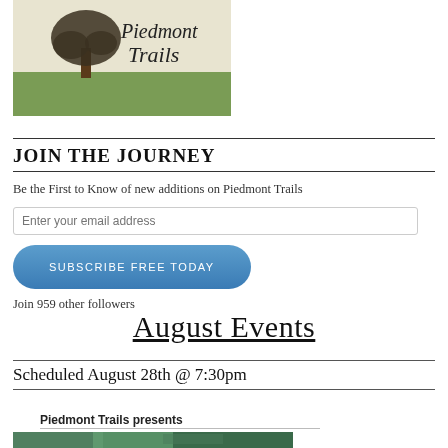[Figure (illustration): Piedmont Trails logo with a tree silhouette over a green grassy field with cursive text 'Piedmont Trails']
JOIN THE JOURNEY
Be the First to Know of new additions on Piedmont Trails
Enter your email address
SUBSCRIBE FREE TODAY
Join 959 other followers
August Events
Scheduled August 28th @ 7:30pm
Piedmont Trails presents
[Figure (photo): Partial view of a nature scene, bottom strip of the page]